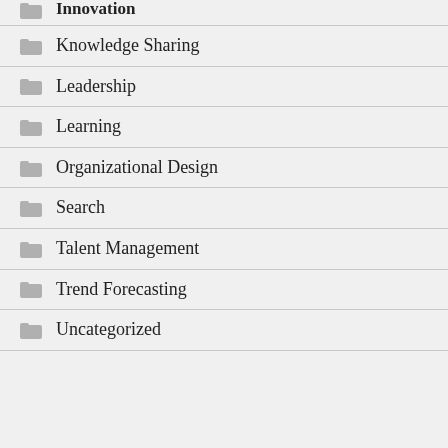Knowledge Sharing
Leadership
Learning
Organizational Design
Search
Talent Management
Trend Forecasting
Uncategorized